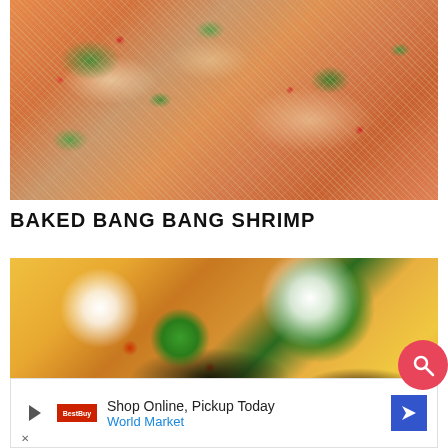[Figure (photo): Close-up photo of baked bang bang shrimp with crispy breading, orange sauce, green herbs, and red pepper flakes]
BAKED BANG BANG SHRIMP
[Figure (photo): Close-up photo of nachos with sour cream, jalapeno slices, melted cheese, black beans, and tomatoes]
Shop Online, Pickup Today World Market (advertisement)